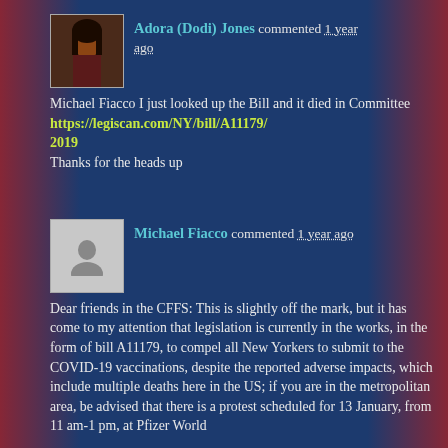Adora (Dodi) Jones commented 1 year ago
Michael Fiacco I just looked up the Bill and it died in Committee
https://legiscan.com/NY/bill/A11179/2019
Thanks for the heads up
Michael Fiacco commented 1 year ago
Dear friends in the CFFS: This is slightly off the mark, but it has come to my attention that legislation is currently in the works, in the form of bill A11179, to compel all New Yorkers to submit to the COVID-19 vaccinations, despite the reported adverse impacts, which include multiple deaths here in the US; if you are in the metropolitan area, be advised that there is a protest scheduled for 13 January, from 11 am-1 pm, at Pfizer World